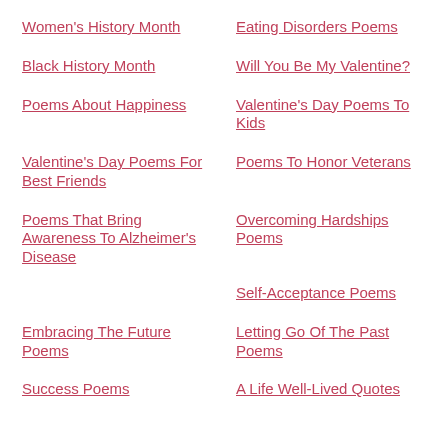Women's History Month
Eating Disorders Poems
Black History Month
Will You Be My Valentine?
Poems About Happiness
Valentine's Day Poems To Kids
Valentine's Day Poems For Best Friends
Poems To Honor Veterans
Poems That Bring Awareness To Alzheimer's Disease
Overcoming Hardships Poems
Self-Acceptance Poems
Embracing The Future Poems
Letting Go Of The Past Poems
Success Poems
A Life Well-Lived Quotes